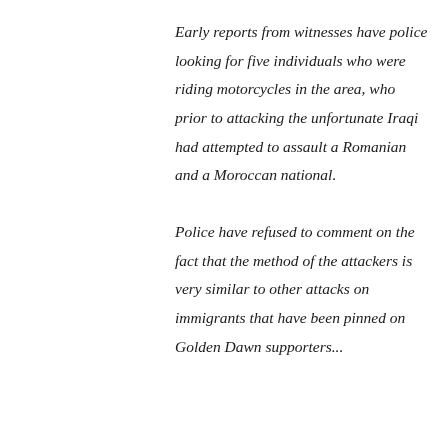Early reports from witnesses have police looking for five individuals who were riding motorcycles in the area, who prior to attacking the unfortunate Iraqi had attempted to assault a Romanian and a Moroccan national.
Police have refused to comment on the fact that the method of the attackers is very similar to other attacks on immigrants that have been pinned on Golden Dawn supporters...